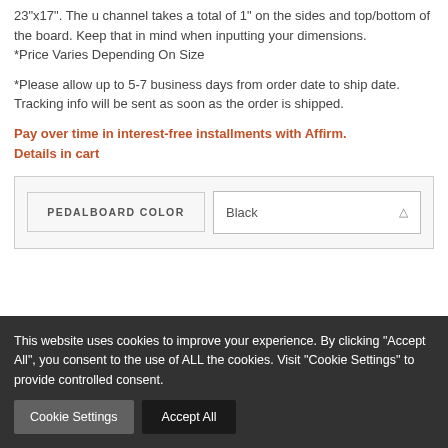23"x17". The u channel takes a total of 1" on the sides and top/bottom of the board. Keep that in mind when inputting your dimensions.
*Price Varies Depending On Size
*Please allow up to 5-7 business days from order date to ship date. Tracking info will be sent as soon as the order is shipped.
Pay over time in interest-free installments with Affirm. Details in cart
| PEDALBOARD COLOR | Black |
| --- | --- |
This website uses cookies to improve your experience. By clicking “Accept All”, you consent to the use of ALL the cookies. Visit “Cookie Settings” to provide controlled consent.
Cookie Settings | Accept All